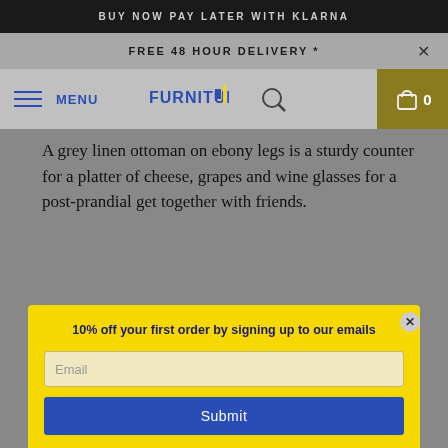BUY NOW PAY LATER WITH KLARNA
FREE 48 HOUR DELIVERY *
MENU  FURNITURE...  0
A grey linen ottoman on ebony legs is a sturdy counter for a platter of cheese, grapes and wine glasses for a post-prandial get together with friends.
10% off your first order by signing up to our emails
when you don't feel like negotiating with the dining room.
Hi. Can we help?
DYLAN BOWEN